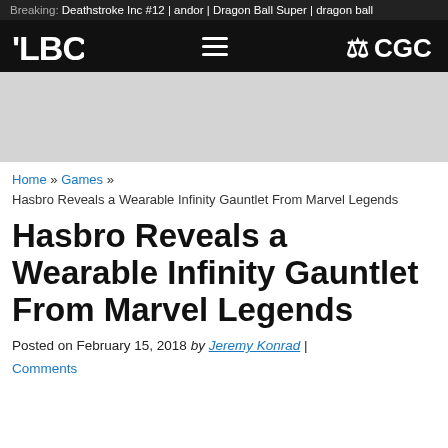Breaking: Deathstroke Inc #12 | andor | Dragon Ball Super | dragon ball
[Figure (logo): LBC website navigation bar with LBC logo on left, hamburger menu in center, and CGC logo on right, on black background]
[Figure (other): Gray advertisement placeholder banner]
Home » Games » Hasbro Reveals a Wearable Infinity Gauntlet From Marvel Legends
Hasbro Reveals a Wearable Infinity Gauntlet From Marvel Legends
Posted on February 15, 2018 by Jeremy Konrad | Comments